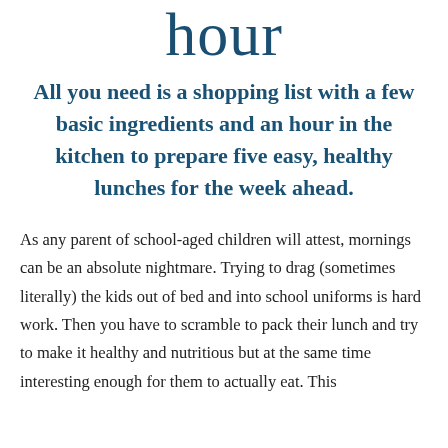hour
All you need is a shopping list with a few basic ingredients and an hour in the kitchen to prepare five easy, healthy lunches for the week ahead.
As any parent of school-aged children will attest, mornings can be an absolute nightmare. Trying to drag (sometimes literally) the kids out of bed and into school uniforms is hard work. Then you have to scramble to pack their lunch and try to make it healthy and nutritious but at the same time interesting enough for them to actually eat. This